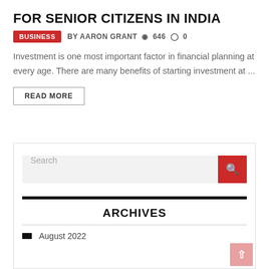FOR SENIOR CITIZENS IN INDIA
BUSINESS  BY AARON GRANT  646  0
Investment is one most important factor in financial planning at every age. There are many benefits of starting investment at ...
READ MORE
[Figure (screenshot): Search bar with red search button and Archives section header with August 2022 archive entry]